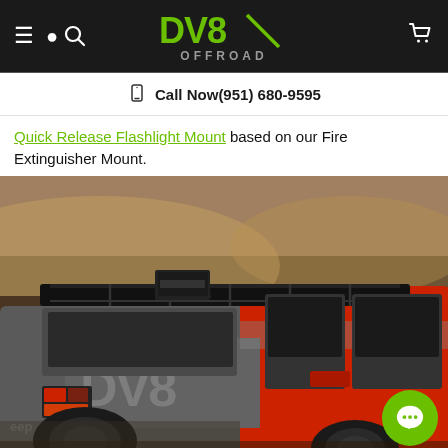DV8 OFFROAD — Call Now (951) 680-9595
Quick Release Flashlight Mount based on our Fire Extinguisher Mount.
[Figure (photo): Photo of a red and gray Jeep Gladiator/Wrangler with DV8 branding on the side panel, featuring a roof rack and accessories, photographed outdoors in a desert/rock environment.]